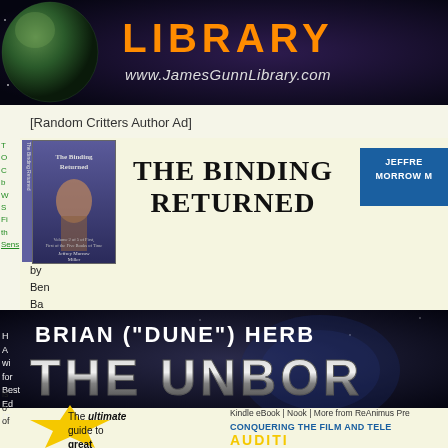[Figure (illustration): Top banner with 'LIBRARY' in orange text and www.JamesGunnLibrary.com URL on dark space background with globe image on left]
[Random Critters Author Ad]
[Figure (illustration): Book cover for 'The Binding Returned' by Jeffrey Morrow Miller with dark blue spine]
THE BINDING RETURNED
JEFFREY MORROW M
by
Ben
Ba
be
se
au
an
si
ti
H
A
wi
for
Best
Ed
(T
is
o
of
[Figure (illustration): Dark space background banner with text 'BRIAN ("DUNE") HERB' and 'THE UNBOR' in large metallic letters]
Kindle eBook | Nook | More from ReAnimus Pre
CONQUERING THE FILM AND TELE
The ultimate guide to great